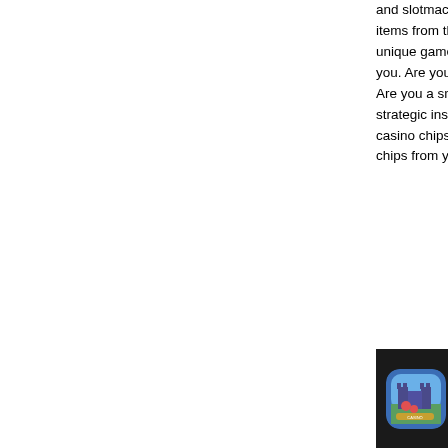and slotmachines. items from the ca... unique game: Chi... you. Are you brav... Are you a smart g... strategic insight to... casino chips back... chips from your op...
[Figure (screenshot): App store screenshot showing a casino-themed app icon (city/castle illustration) with text 'Chip' visible, on a dark background with some dark card/chip imagery]